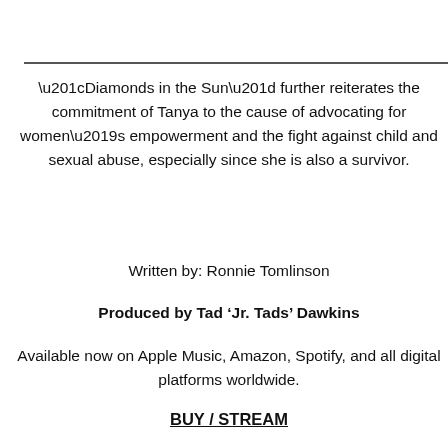“Diamonds in the Sun” further reiterates the commitment of Tanya to the cause of advocating for women’s empowerment and the fight against child and sexual abuse, especially since she is also a survivor.
Written by: Ronnie Tomlinson
Produced by Tad ‘Jr. Tads’ Dawkins
Available now on Apple Music, Amazon, Spotify, and all digital platforms worldwide.
BUY / STREAM